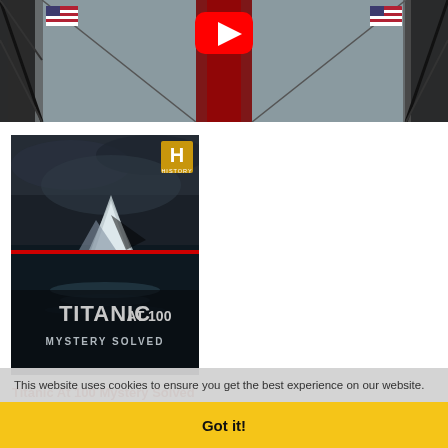[Figure (screenshot): YouTube video thumbnail showing steel bridge/shipyard structure with a YouTube play button in the center, US flags visible on left and right sides]
[Figure (photo): Book cover for 'Titanic at 100 Mystery Solved' — History Channel documentary. Shows a dramatic ocean scene with what appears to be an iceberg emerging from dark stormy waters. History channel logo (gold H) in upper right. Title text 'TITANIC AT 100 MYSTERY SOLVED' in large stone-textured letters at the bottom.]
This website uses cookies to ensure you get the best experience on our website.
Titanic At 100 Mystery Solved
At the 100th anniversary of Titanic's sinking , a team of
Got it!